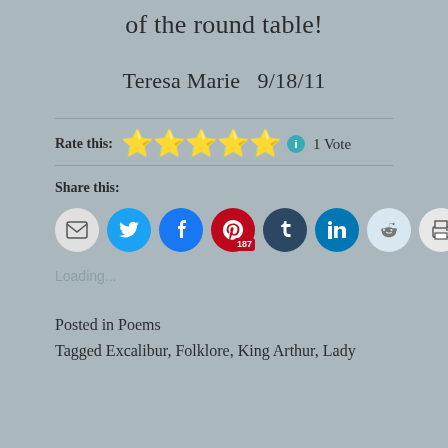of the round table!
Teresa Marie  9/18/11
Rate this: ★★★★★ ℹ 1 Vote
Share this:
[Figure (infographic): Row of social sharing buttons: email, twitter, facebook (187), pinterest, tumblr, linkedin, reddit, print, pocket]
Loading...
Posted in Poems
Tagged Excalibur, Folklore, King Arthur, Lady